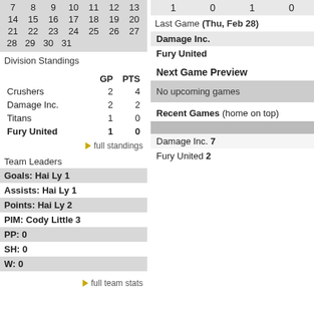| 7 | 8 | 9 | 10 | 11 | 12 | 13 |
| 14 | 15 | 16 | 17 | 18 | 19 | 20 |
| 21 | 22 | 23 | 24 | 25 | 26 | 27 |
| 28 | 29 | 30 | 31 |  |  |  |
Division Standings
|  | GP | PTS |
| --- | --- | --- |
| Crushers | 2 | 4 |
| Damage Inc. | 2 | 2 |
| Titans | 1 | 0 |
| Fury United | 1 | 0 |
full standings
Team Leaders
Goals: Hai Ly 1
Assists: Hai Ly 1
Points: Hai Ly 2
PIM: Cody Little 3
PP: 0
SH: 0
W: 0
full team stats
1   0   1   0
Last Game (Thu, Feb 28)
Damage Inc.
Fury United
Next Game Preview
No upcoming games
Recent Games (home on top)
Damage Inc. 7
Fury United 2